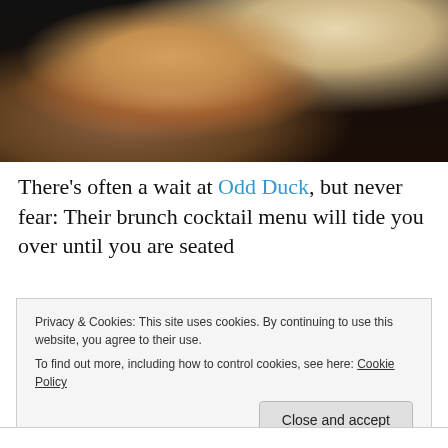[Figure (photo): A hand holding a cocktail glass with a creamy drink, above a dark bar surface with a menu and metallic shaker visible in the background.]
There’s often a wait at Odd Duck, but never fear: Their brunch cocktail menu will tide you over until you are seated
Privacy & Cookies: This site uses cookies. By continuing to use this website, you agree to their use.
To find out more, including how to control cookies, see here: Cookie Policy
[Close and accept]